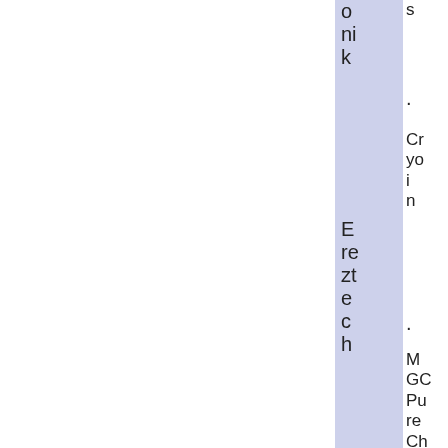onik
Ereztech
Matheson/T
s
Cryon
MGC Pure Chemicals
Electronics